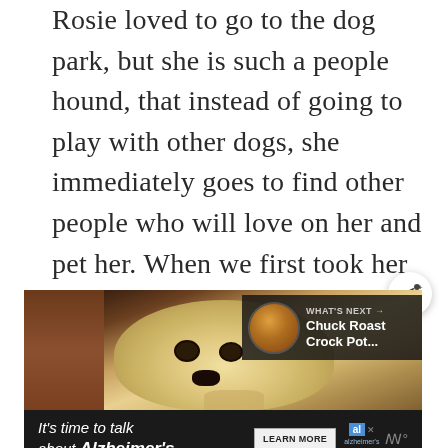Rosie loved to go to the dog park, but she is such a people hound, that instead of going to play with other dogs, she immediately goes to find other people who will love on her and pet her. When we first took her to the dog park, she was afraid of the water. However, she watched the other dogs chase tennis balls into the water. For a lab, there is nothing better than chasing a tennis ball.
[Figure (photo): A light-colored Labrador dog peeking over what appears to be a wooden surface, looking at the camera. There is a 'WHAT'S NEXT' overlay in the upper right showing a food image labeled 'Chuck Roast Crock Pot...' and a share button. Below the dog photo is an advertisement bar that reads 'It's time to talk about Alzheimer's.' with a 'LEARN MORE' button and the Alzheimer's Association logo.]